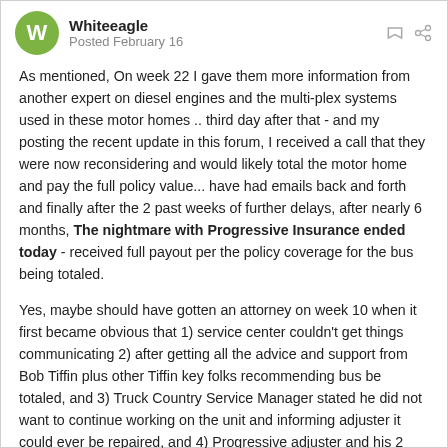Whiteeagle
Posted February 16
As mentioned, On week 22 I gave them more information from another expert on diesel engines and the multi-plex systems used in these motor homes .. third day after that - and my posting the recent update in this forum,  I received a call that they were now reconsidering and would likely total the motor home and pay the full policy value... have had emails back and forth and finally after the 2 past weeks of further delays, after nearly 6 months,  The nightmare with Progressive Insurance ended today - received full payout per the policy coverage for the bus being totaled.
Yes, maybe should have gotten an attorney on week 10 when it first became obvious that 1) service center couldn't get things communicating 2) after getting all the advice and support from Bob Tiffin plus other Tiffin key folks recommending bus be totaled, and 3) Truck Country Service Manager stated he did not want to continue working on the unit and informing adjuster it could ever be repaired, and 4) Progressive adjuster and his 2 superior higher levels insisting they were going to take as long as necessary to  get others to diagnose this specific bus in spite of all expert advice and documentation based on their historical experiences. Yes, I had been doing serious consulting